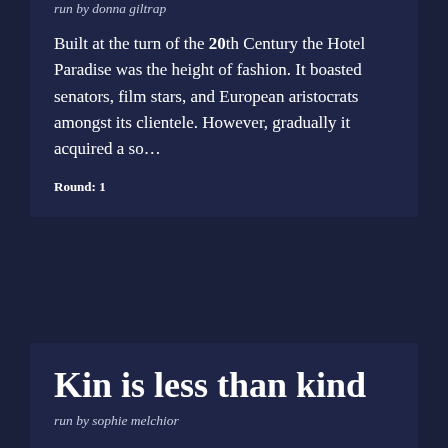run by donna giltrap
Built at the turn of the 20th Century the Hotel Paradise was the height of fashion. It boasted senators, film stars, and European aristocrats amongst its clientele. However, gradually it acquired a so…
Round: 1
Kin is less than kind
run by sophie melchior
Mr Markden passed away three weeks ago from a heart attack at his home. As his lawyers